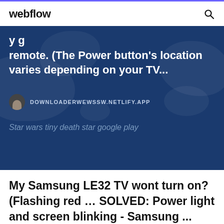webflow
y g remote. (The Power button's location varies depending on your TV...
DOWNLOADERWEWSSW.NETLIFY.APP
Star wars tiny death star google play
My Samsung LE32 TV wont turn on? (Flashing red … SOLVED: Power light and screen blinking - Samsung ...